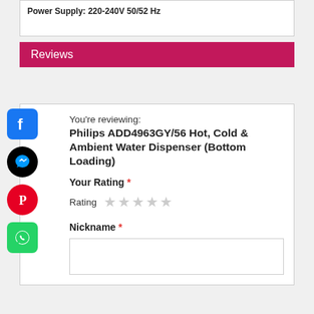Power Supply: 220-240V 50/52 Hz
Reviews
You're reviewing:
Philips ADD4963GY/56 Hot, Cold & Ambient Water Dispenser (Bottom Loading)
Your Rating *
Rating ★★★★★
Nickname *